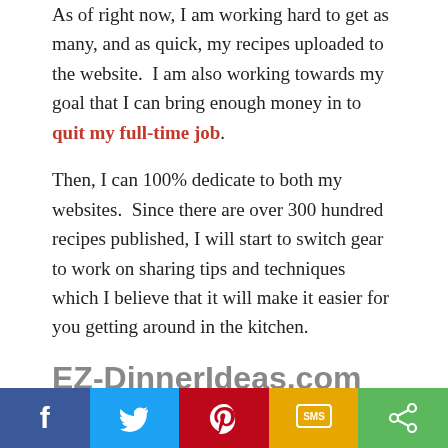As of right now, I am working hard to get as many, and as quick, my recipes uploaded to the website.  I am also working towards my goal that I can bring enough money in to quit my full-time job.
Then, I can 100% dedicate to both my websites.  Since there are over 300 hundred recipes published, I will start to switch gear to work on sharing tips and techniques which I believe that it will make it easier for you getting around in the kitchen.
EZ-DinnerIdeas.com Future
Well, I had never given a
[Figure (infographic): Social sharing bar with five buttons: Facebook (blue), Twitter (light blue), Pinterest (red), SMS (yellow/orange), Share (green), each with its respective icon.]